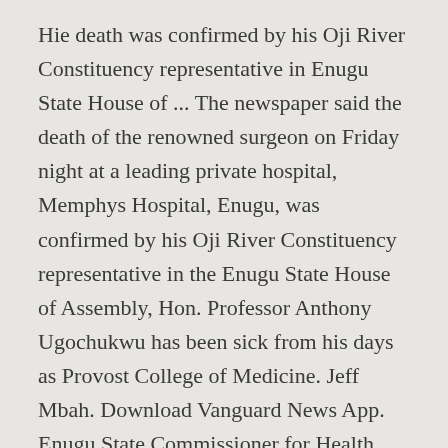Hie death was confirmed by his Oji River Constituency representative in Enugu State House of ... The newspaper said the death of the renowned surgeon on Friday night at a leading private hospital, Memphys Hospital, Enugu, was confirmed by his Oji River Constituency representative in the Enugu State House of Assembly, Hon. Professor Anthony Ugochukwu has been sick from his days as Provost College of Medicine. Jeff Mbah. Download Vanguard News App. Enugu State Commissioner for Health, Professor Anthony Ugochukwu is dead. Before becoming a Commissioner, he also served as the Provost College of Medicine at the Enugu State University of Scion ce and Technology. ESUTH